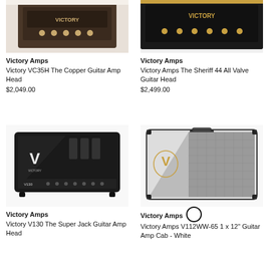[Figure (photo): Victory VC35H The Copper Guitar Amp Head - partial top view of amplifier head]
Victory Amps
Victory VC35H The Copper Guitar Amp Head
$2,049.00
[Figure (photo): Victory Amps The Sheriff 44 All Valve Guitar Head - partial top view of amplifier head]
Victory Amps
Victory Amps The Sheriff 44 All Valve Guitar Head
$2,499.00
[Figure (photo): Victory V130 The Super Jack Guitar Amp Head - black amp head with V logo]
Victory Amps
Victory V130 The Super Jack Guitar Amp Head
[Figure (photo): Victory Amps V112WW-65 1x12 Guitar Amp Cab White - white cabinet with V logo and gray grille]
Victory Amps
Victory Amps V112WW-65 1 x 12" Guitar Amp Cab - White